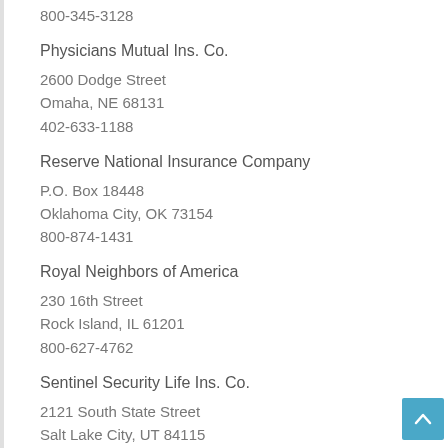800-345-3128
Physicians Mutual Ins. Co.
2600 Dodge Street
Omaha, NE 68131
402-633-1188
Reserve National Insurance Company
P.O. Box 18448
Oklahoma City, OK 73154
800-874-1431
Royal Neighbors of America
230 16th Street
Rock Island, IL 61201
800-627-4762
Sentinel Security Life Ins. Co.
2121 South State Street
Salt Lake City, UT 84115
855-478-4037